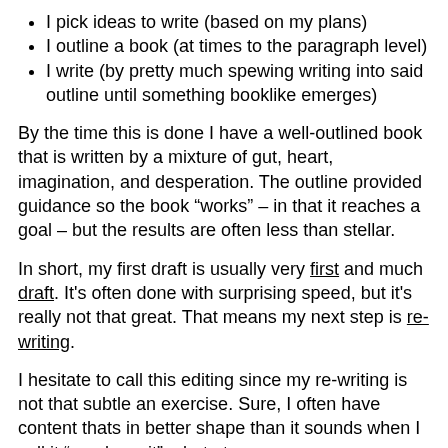I pick ideas to write (based on my plans)
I outline a book (at times to the paragraph level)
I write (by pretty much spewing writing into said outline until something booklike emerges)
By the time this is done I have a well-outlined book that is written by a mixture of gut, heart, imagination, and desperation.  The outline provided guidance so the book “works” – in that it reaches a goal – but the results are often less than stellar.
In short, my first draft is usually very first and much draft.  It's often done with surprising speed, but it's really not that great.  That means my next step is re-writing.
I hesitate to call this editing since my re-writing is not that subtle an exercise.  Sure, I often have content thats in better shape than it sounds when I call it “word vomit”  – but at